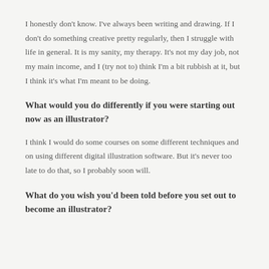I honestly don't know. I've always been writing and drawing. If I don't do something creative pretty regularly, then I struggle with life in general. It is my sanity, my therapy. It's not my day job, not my main income, and I (try not to) think I'm a bit rubbish at it, but I think it's what I'm meant to be doing.
What would you do differently if you were starting out now as an illustrator?
I think I would do some courses on some different techniques and on using different digital illustration software. But it's never too late to do that, so I probably soon will.
What do you wish you'd been told before you set out to become an illustrator?